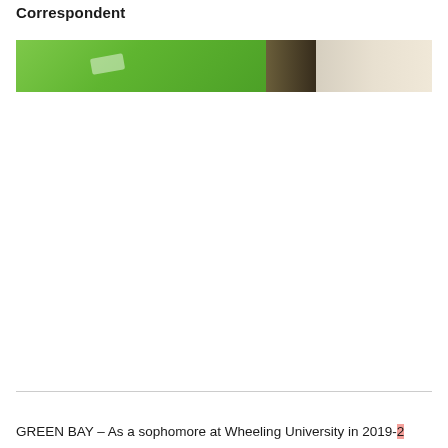Correspondent
[Figure (photo): Horizontal strip photo showing a green surface (likely a sports field or court) on the left side, dark object in the center, and cream/beige tones on the right side. Appears to be a cropped action or close-up photo.]
GREEN BAY – As a sophomore at Wheeling University in 2019-